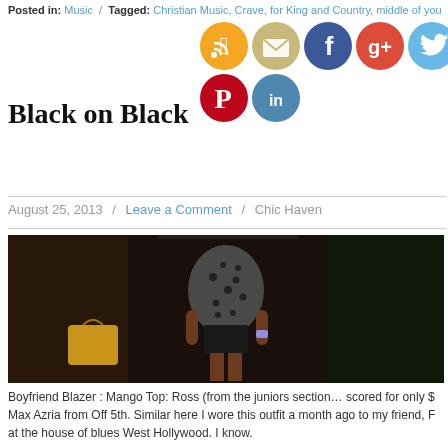Posted in: Music / Tagged: Christian Music, Crave, for King and Country, middle of you
[Figure (infographic): Social media share icons: RSS (orange), Email (tan/gold), Facebook (blue), Google+ (red), Twitter (light blue), Pinterest (red), LinkedIn (blue)]
Black on Black
August 25, 2013 / Leave a Comment / Chic Haven
[Figure (photo): Person wearing a dark polka-dot top and black shorts standing in a dimly lit doorway or entrance area, with a bag visible on the left side]
Boyfriend Blazer : Mango Top: Ross (from the juniors section… scored for only $ Max Azria from Off 5th. Similar here I wore this outfit a month ago to my friend, F at the house of blues West Hollywood. I know.